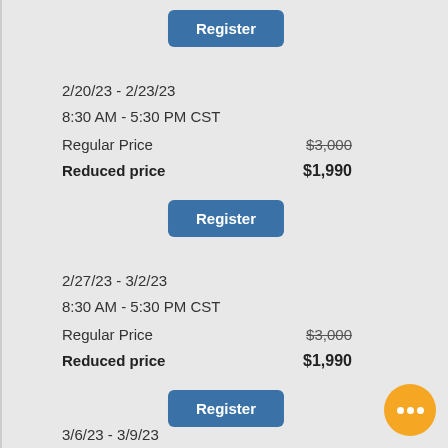Register
2/20/23 - 2/23/23
8:30 AM - 5:30 PM CST
Regular Price    $3,000
Reduced price    $1,990
Register
2/27/23 - 3/2/23
8:30 AM - 5:30 PM CST
Regular Price    $3,000
Reduced price    $1,990
Register
3/6/23 - 3/9/23